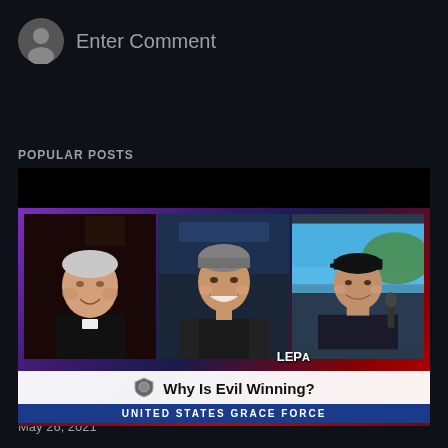Enter Comment
POPULAR POSTS
[Figure (screenshot): Video thumbnail showing three men in a split-screen video call format with a patriotic red/white/blue and purple border. Lower bar reads 'Why Is Evil Winning?' with 'UNITED STATES GRACE FORCE' subtitle and a shield logo.]
May 26, 2021